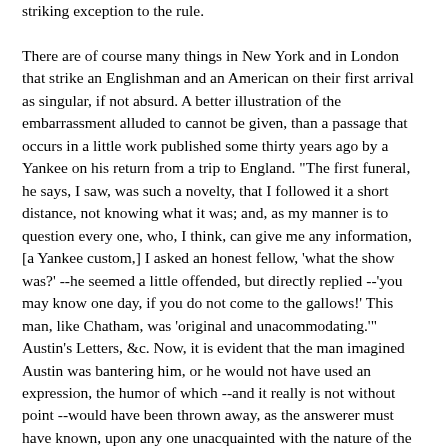striking exception to the rule.

There are of course many things in New York and in London that strike an Englishman and an American on their first arrival as singular, if not absurd. A better illustration of the embarrassment alluded to cannot be given, than a passage that occurs in a little work published some thirty years ago by a Yankee on his return from a trip to England. "The first funeral, he says, I saw, was such a novelty, that I followed it a short distance, not knowing what it was; and, as my manner is to question every one, who, I think, can give me any information, [a Yankee custom,] I asked an honest fellow, 'what the show was?' --he seemed a little offended, but directly replied --'you may know one day, if you do not come to the gallows!' This man, like Chatham, was 'original and unacommodating.'" Austin's Letters, &c. Now, it is evident that the man imagined Austin was bantering him, or he would not have used an expression, the humor of which --and it really is not without point --would have been thrown away, as the answerer must have known, upon any one unacquainted with the nature of the procession. The writer adds --"observing I was surprised at his answer, and feeling perhaps a little mortified, he asked me, 'if I lived in London?' I told him 'I had just come.' 'Well! but people die sometimes in your town?' By this time I discovered the performance was a funeral. The plumes being white, a sign of a virgin, instead of black, which are more usually displayed, account for my ignorance. Had I been in Pekin, I should have expected a